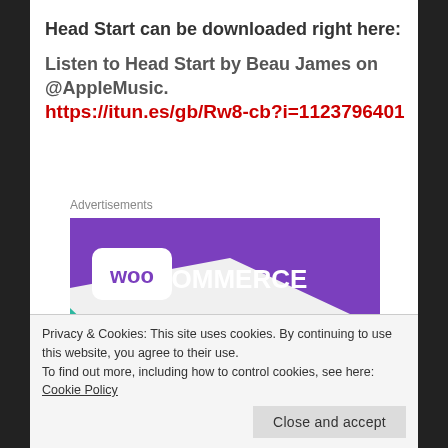Head Start can be downloaded right here:
Listen to Head Start by Beau James on @AppleMusic.
https://itun.es/gb/Rw8-cb?i=1123796401
Advertisements
[Figure (illustration): WooCommerce advertisement banner showing the WooCommerce logo on a purple background with teal and cyan geometric shapes, and text 'How to start selling']
Privacy & Cookies: This site uses cookies. By continuing to use this website, you agree to their use.
To find out more, including how to control cookies, see here: Cookie Policy
Close and accept